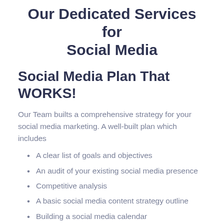Our Dedicated Services for Social Media
Social Media Plan That WORKS!
Our Team builts a comprehensive strategy for your social media marketing. A well-built plan which includes
A clear list of goals and objectives
An audit of your existing social media presence
Competitive analysis
A basic social media content strategy outline
Building a social media calendar
Building an effective strategy for social media takes